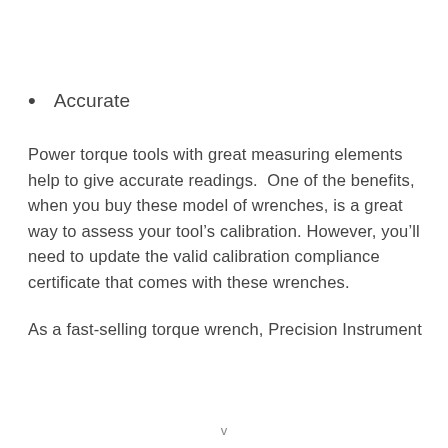Accurate
Power torque tools with great measuring elements help to give accurate readings.  One of the benefits, when you buy these model of wrenches, is a great way to assess your tool’s calibration. However, you’ll need to update the valid calibration compliance certificate that comes with these wrenches.
As a fast-selling torque wrench, Precision Instrument
v